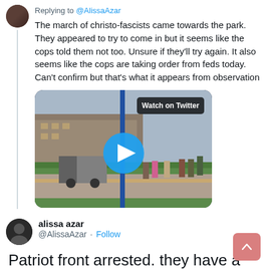Replying to @AlissaAzar
The march of christo-fascists came towards the park. They appeared to try to come in but it seems like the cops told them not too. Unsure if they'll try again. It also seems like the cops are taking order from feds today. Can't confirm but that's what it appears from observation
[Figure (screenshot): Video thumbnail showing people on a street near buildings, with a 'Watch on Twitter' badge and circular play button overlay]
alissa azar @AlissaAzar · Follow
Patriot front arrested. they have a uhaul